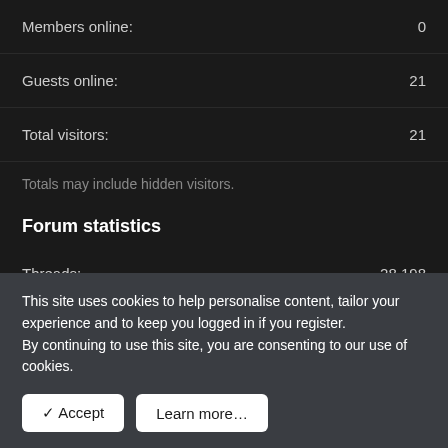Members online: 0
Guests online: 21
Total visitors: 21
Totals may include hidden visitors.
Forum statistics
Threads: 28,198
Messages: 130,473
This site uses cookies to help personalise content, tailor your experience and to keep you logged in if you register.
By continuing to use this site, you are consenting to our use of cookies.
✓ Accept
Learn more...